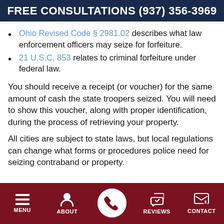FREE CONSULTATIONS (937) 356-3969
Ohio Revised Code § 2981.02 describes what law enforcement officers may seize for forfeiture.
21 U.S.C. 853 relates to criminal forfeiture under federal law.
You should receive a receipt (or voucher) for the same amount of cash the state troopers seized. You will need to show this voucher, along with proper identification, during the process of retrieving your property.
All cities are subject to state laws, but local regulations can change what forms or procedures police need for seizing contraband or property.
MENU | ABOUT | (phone) | REVIEWS | CONTACT